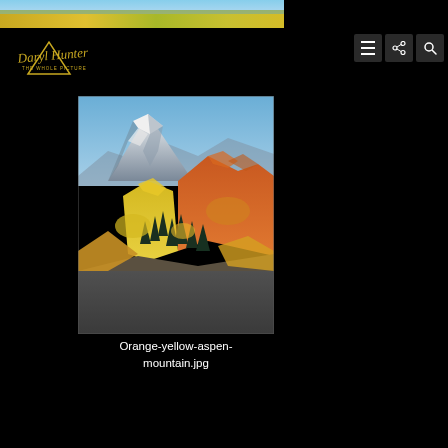[Figure (photo): Top banner strip showing autumn road with yellow and green foliage]
[Figure (logo): Daryl Hunter The Whole Picture logo in gold/yellow script with mountain outline]
[Figure (photo): Mountain landscape with snow-capped peak, orange and yellow aspen trees on hillside, dark evergreen trees in valley]
Orange-yellow-aspen-mountain.jpg